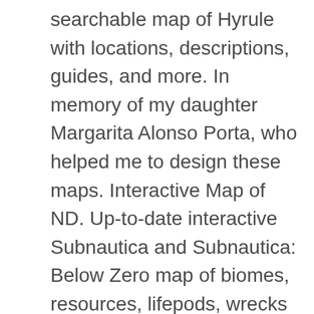searchable map of Hyrule with locations, descriptions, guides, and more. In memory of my daughter Margarita Alonso Porta, who helped me to design these maps. Interactive Map of ND. Up-to-date interactive Subnautica and Subnautica: Below Zero map of biomes, resources, lifepods, wrecks and all the other points of interests and collectibles. Where is it? Sign In. Then share your map with friends or embed on your website. Map and address to find accommodation facility Hotel Zimní stadion, Náchod Flexible layout. Find comms, SHD tech, Hunters, Keychains, weapons & more! Gamepedia. The Interactive Radar Map Tool shows supplemental data in support of NCEI's